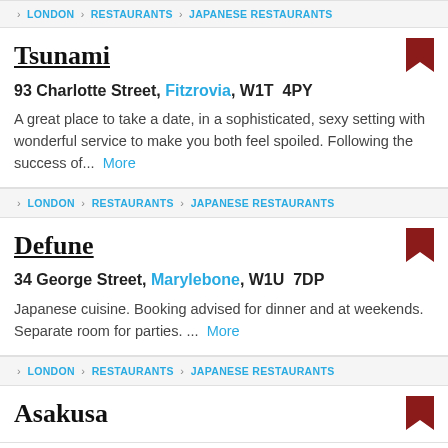> LONDON > RESTAURANTS > JAPANESE RESTAURANTS
Tsunami
93 Charlotte Street, Fitzrovia, W1T 4PY
A great place to take a date, in a sophisticated, sexy setting with wonderful service to make you both feel spoiled. Following the success of... More
> LONDON > RESTAURANTS > JAPANESE RESTAURANTS
Defune
34 George Street, Marylebone, W1U 7DP
Japanese cuisine. Booking advised for dinner and at weekends. Separate room for parties. ... More
> LONDON > RESTAURANTS > JAPANESE RESTAURANTS
Asakusa